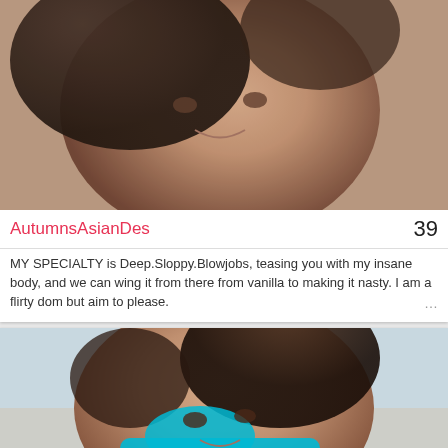[Figure (photo): Close-up photo of a young woman with dark hair lying down, looking at camera]
AutumnsAsianDes
39
MY SPECIALTY is Deep.Sloppy.Blowjobs, teasing you with my insane body, and we can wing it from there from vanilla to making it nasty. I am a flirty dom but aim to please.
[Figure (photo): Young woman in turquoise bikini top with dark hair, looking at camera]
Lynn_Wu
40